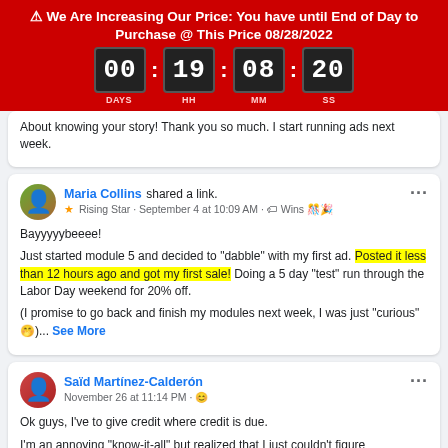[Figure (screenshot): Red banner with price increase warning, countdown timer showing 00 days 19 hours 08 minutes 20 seconds, deadline 08/28/2022]
About knowing your story! Thank you so much. I start running ads next week.
Maria Collins shared a link. ★ Rising Star · September 4 at 10:09 AM · Wins 🎊🎉

Bayyyyybeeee!

Just started module 5 and decided to "dabble" with my first ad. Posted it less than 12 hours ago and got my first sale! Doing a 5 day "test" run through the Labor Day weekend for 20% off.

(I promise to go back and finish my modules next week, I was just "curious" 🤭)... See More
Saïd Martínez-Calderón
November 26 at 11:14 PM · 😊

Ok guys, I've to give credit where credit is due.

I'm an annoying "know-it-all" but realized that I just couldn't figure...